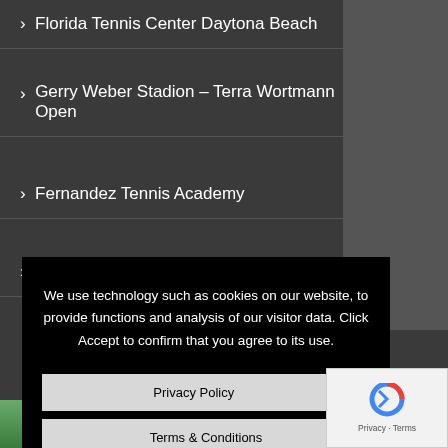Florida Tennis Center Daytona Beach
Gerry Weber Stadion – Terra Wortmann Open
Fernandez Tennis Academy
Tennis Club Aeroporto – Bologna
We use technology such as cookies on our website, to provide functions and analysis of our visitor data. Click Accept to confirm that you agree to its use.
Privacy Policy | Terms & Conditions
ACCEPT
Privacy · Terms